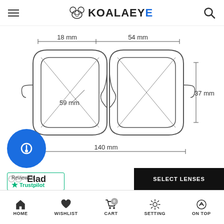KOALAEYE
[Figure (engineering-diagram): Front-view technical drawing of eyeglasses frame with dimensions: 18 mm bridge width, 54 mm lens width, 59 mm diagonal lens measurement, 37 mm lens height, 140 mm total frame width]
Review us — Trustpilot
Elad
SELECT LENSES
HOME  WISHLIST  CART  SETTING  ON TOP